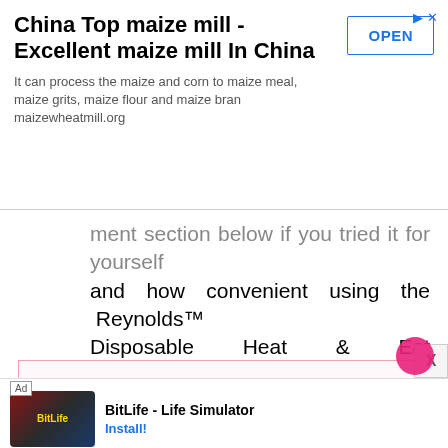[Figure (screenshot): Top advertisement banner: China Top maize mill - Excellent maize mill In China with OPEN button]
ment section below if you tried it for yourself and how convenient using the Reynolds™ Disposable Heat & Eat Containers have been for you!
30 Minute Black Beans and Lime Rice
[Figure (screenshot): Bottom advertisement banner for BitLife - Life Simulator with Install! button]